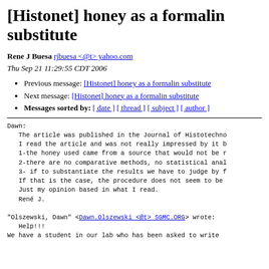[Histonet] honey as a formalin substitute
Rene J Buesa rjbuesa <@t> yahoo.com
Thu Sep 21 11:29:55 CDT 2006
Previous message: [Histonet] honey as a formalin substitute
Next message: [Histonet] honey as a formalin substitute
Messages sorted by: [ date ] [ thread ] [ subject ] [ author ]
Dawn:
   The article was published in the Journal of Histotechno

   I read the article and was not really impressed by it b
   1-the honey used came from a source that would not be r
   2-there are no comparative methods, no statistical anal
   3- if to substantiate the results we have to judge by f
   If that is the case, the procedure does not seem to be
   Just my opinion based in what I read.
   René J.

"Olszewski, Dawn" <Dawn.Olszewski <@t> SGMC.ORG> wrote:
   Help!!!
We have a student in our lab who has been asked to write